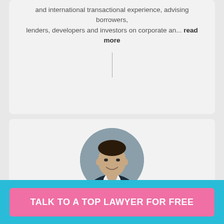and international transactional experience, advising borrowers, lenders, developers and investors on corporate an... read more
[Figure (photo): Circular headshot of lawyer Helbert Canales-Rojas in a dark suit and tie against a grey background]
Helbert Canales-Rojas
★★★★★ 2 reviews
Mr. Canales-Rojas focuses his practice on business law, commercial litigation, construction litigation, and real estate
TALK TO A TOP LAWYER FOR FREE